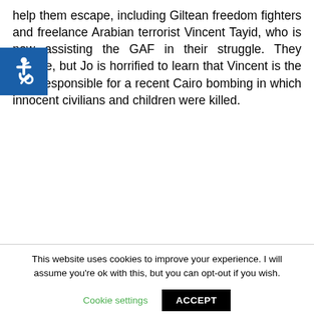help them escape, including Giltean freedom fighters and freelance Arabian terrorist Vincent Tayid, who is now assisting the GAF in their struggle. They escape, but Jo is horrified to learn that Vincent is the man responsible for a recent Cairo bombing in which innocent civilians and children were killed.
[Figure (illustration): Accessibility icon: white wheelchair symbol on dark blue square background]
This website uses cookies to improve your experience. I will assume you're ok with this, but you can opt-out if you wish.
Cookie settings   ACCEPT